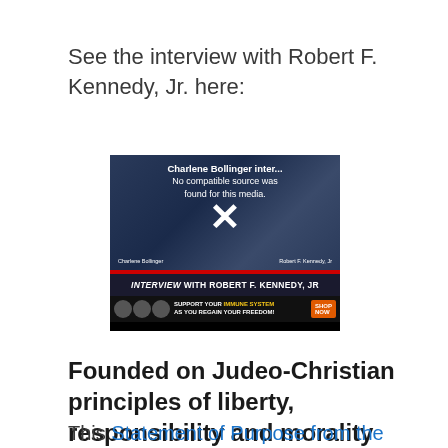See the interview with Robert F. Kennedy, Jr. here:
[Figure (screenshot): Video thumbnail showing Charlene Bollinger interview with Robert F. Kennedy Jr. The video player shows 'No compatible source was found for this media.' error with an X icon. Below shows 'INTERVIEW WITH ROBERT F. KENNEDY, JR' text and an advertisement 'SUPPORT YOUR IMMUNE SYSTEM AS YOU REGAIN YOUR FREEDOM! SHOP NOW'.]
Founded on Judeo-Christian principles of liberty, responsibility and morality
This Statement of Purpose from the Super P...